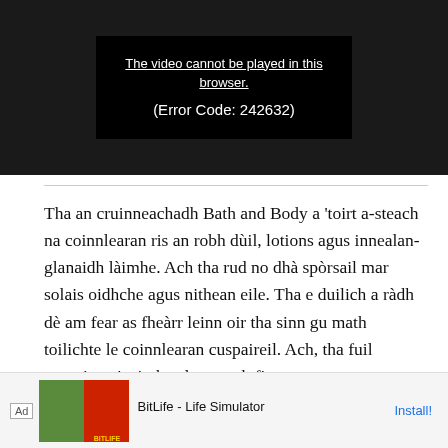[Figure (screenshot): Video player showing error message on dark background: 'The video cannot be played in this browser. (Error Code: 242632)']
Tha an cruinneachadh Bath and Body a 'toirt a-steach na coinnlearan ris an robh dùil, lotions agus innealan-glanaidh làimhe. Ach tha rud no dhà spòrsail mar solais oidhche agus nithean eile. Tha e duilich a ràdh dè am fear as fheàrr leinn oir tha sinn gu math toilichte le coinnlearan cuspaireil. Ach, tha fuil vampire a 'coimhead gu math fionnar.
[Figure (screenshot): Advertisement bar at bottom: BitLife - Life Simulator with Install! button]